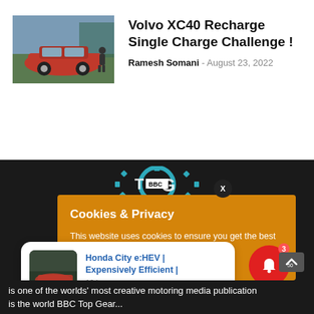[Figure (photo): Red Volvo XC40 car parked near a building with a person standing next to it]
Volvo XC40 Recharge Single Charge Challenge !
Ramesh Somani - August 23, 2022
[Figure (logo): BBC Top Gear logo on dark background]
Cookies & Privacy
This website uses cookies to ensure you get the best experience on our website.
See privacy policy
[Figure (photo): Honda City e:HEV thumbnail notification popup]
Honda City e:HEV | Expensively Efficient |
12 hours ago
is one of the worlds' most creative motoring media publication is the world BBC Top Gear...